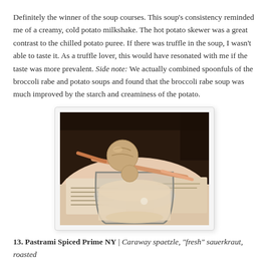Definitely the winner of the soup courses. This soup's consistency reminded me of a creamy, cold potato milkshake. The hot potato skewer was a great contrast to the chilled potato puree. If there was truffle in the soup, I wasn't able to taste it. As a truffle lover, this would have resonated with me if the taste was more prevalent. Side note: We actually combined spoonfuls of the broccoli rabe and potato soups and found that the broccoli rabe soup was much improved by the starch and creaminess of the potato.
[Figure (photo): A glass containing a creamy potato soup with a hot potato skewer resting across the rim, photographed from above at an angle. A menu is visible in the background.]
13. Pastrami Spiced Prime NY | Caraway spaetzle, "fresh" sauerkraut, roasted